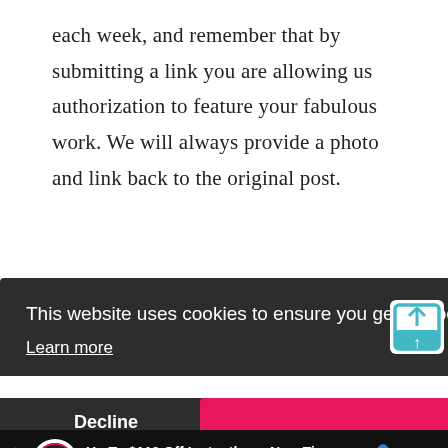each week, and remember that by submitting a link you are allowing us authorization to feature your fabulous work. We will always provide a photo and link back to the original post.
Similar Posts
This website uses cookies to ensure you get the best experience on our website. Learn more
Decline   Allow cookies
[Figure (other): Advertisement banner: tire auto logo, text 'Up To $110 Off Instantly on New Tires + $40 Off Alignments', blue diamond navigation icon, close X button]